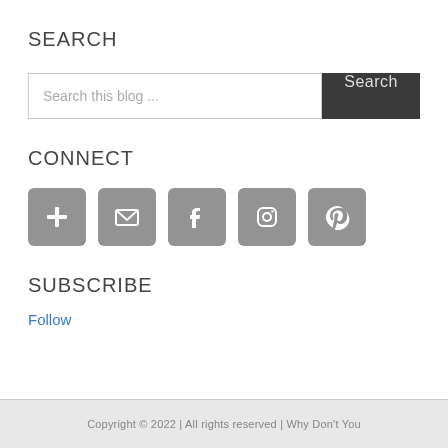SEARCH
Search this blog ...
CONNECT
[Figure (infographic): Five social media icon buttons: RSS/plus, email/envelope, Facebook, Instagram, Pinterest — all grey rounded squares with white icons]
SUBSCRIBE
Follow
Copyright © 2022 | All rights reserved | Why Don't You